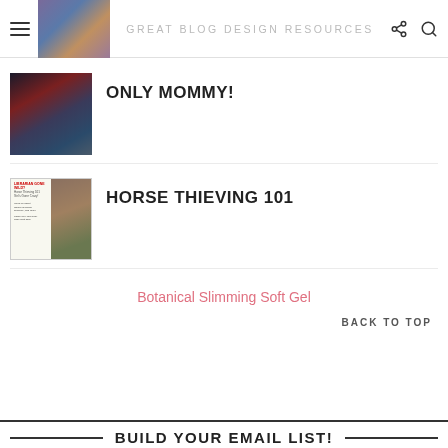GREAT BLOG DESIGN RESOURCES
[Figure (photo): Thumbnail image for first blog post]
[Figure (photo): Child with hands over eyes sitting at table]
ONLY MOMMY!
[Figure (photo): Newspaper clipping collage about Horse Thieving 101]
HORSE THIEVING 101
Botanical Slimming Soft Gel
BACK TO TOP
BUILD YOUR EMAIL LIST!